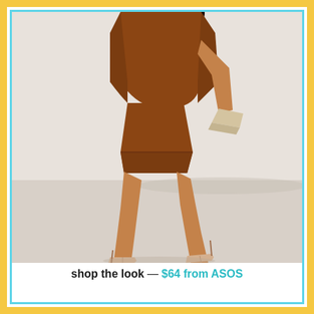[Figure (photo): A model photographed from behind wearing a tan/cognac faux leather mini skirt and matching cropped jacket, holding a small beige clutch bag, wearing nude strappy heeled sandals. The background is plain white/light grey. The image is framed with a light blue/cyan border on a yellow/golden outer border.]
shop the look — $64 from ASOS